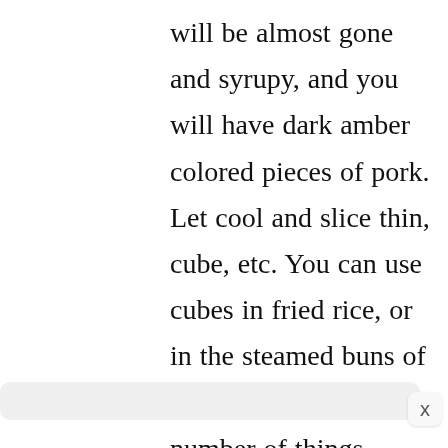will be almost gone and syrupy, and you will have dark amber colored pieces of pork. Let cool and slice thin, cube, etc. You can use cubes in fried rice, or in the steamed buns of course, and any number of things. Sliced thin it makes a great salad. It's also a rather unusual tasting sandwich meat.